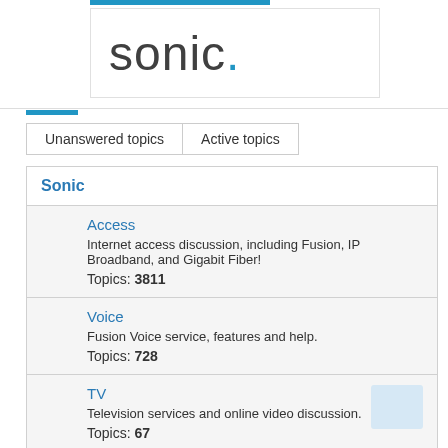[Figure (logo): Sonic logo with blue dot and blue top bar]
Unanswered topics | Active topics
Sonic
Access
Internet access discussion, including Fusion, IP Broadband, and Gigabit Fiber!
Topics: 3811
Voice
Fusion Voice service, features and help.
Topics: 728
TV
Television services and online video discussion.
Topics: 67